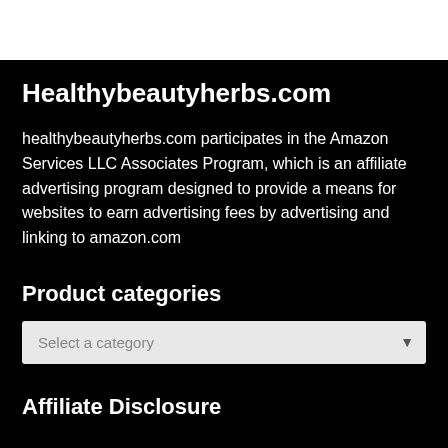Healthybeautyherbs.com
healthybeautyherbs.com participates in the Amazon Services LLC Associates Program, which is an affiliate advertising program designed to provide a means for websites to earn advertising fees by advertising and linking to amazon.com
Product categories
Affiliate Disclosure